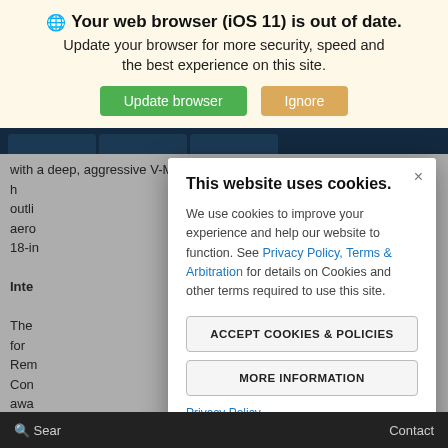Your web browser (iOS 11) is out of date.
Update your browser for more security, speed and the best experience on this site.
[Figure (screenshot): Browser update banner with Update browser (green) and Ignore (orange) buttons]
with a deep, aggressive V-Motion grille, and sharp LED h... ome outli... its aero... with 18-in...
Inte...
The... dard for... like Rem... nate Con... 95 ft awa... the tem... Zone Auto... ver's
This website uses cookies.
We use cookies to improve your experience and help our website to function. See Privacy Policy, Terms & Arbitration for details on Cookies and other terms required to use this site.
ACCEPT COOKIES & POLICIES
MORE INFORMATION
Privacy Policy
Search   Contact